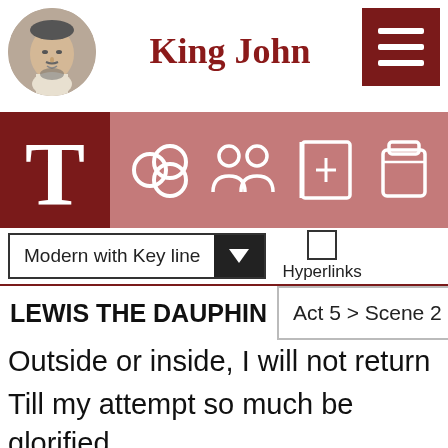King John
[Figure (illustration): Circular portrait of William Shakespeare in grayscale]
LEWIS THE DAUPHIN  Act 5 > Scene 2
Outside or inside, I will not return
Till my attempt so much be glorified
As to my ample hope was promised
Before I drew this gallant head of war,